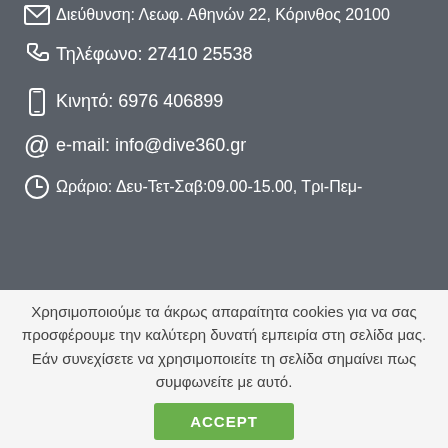Διεύθυνση: Λεωφ. Αθηνών 22, Κόρινθος 20100
Τηλέφωνο: 27410 25538
Κινητό: 6976 406899
e-mail: info@dive360.gr
Ωράριο: Δευ-Τετ-Σαβ:09.00-15.00, Τρι-Πεμ-
Χρησιμοποιούμε τα άκρως απαραίτητα cookies για να σας προσφέρουμε την καλύτερη δυνατή εμπειρία στη σελίδα μας. Εάν συνεχίσετε να χρησιμοποιείτε τη σελίδα σημαίνει πως συμφωνείτε με αυτό.
ACCEPT